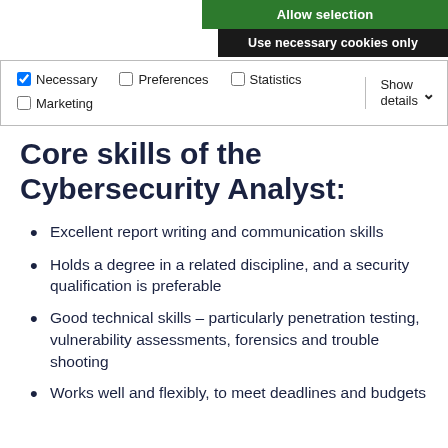[Figure (screenshot): Cookie consent buttons: 'Allow selection' (green) and 'Use necessary cookies only' (dark/black)]
[Figure (screenshot): Cookie options bar with checkboxes: Necessary (checked), Preferences (unchecked), Statistics (unchecked), Marketing (unchecked), and Show details dropdown]
Core skills of the Cybersecurity Analyst:
Excellent report writing and communication skills
Holds a degree in a related discipline, and a security qualification is preferable
Good technical skills – particularly penetration testing, vulnerability assessments, forensics and trouble shooting
Works well and flexibly, to meet deadlines and budgets